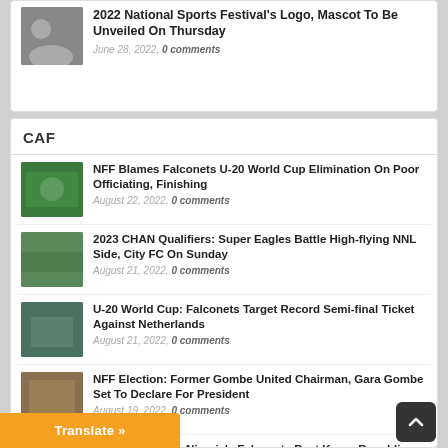2022 National Sports Festival's Logo, Mascot To Be Unveiled On Thursday — June 28, 2022, 0 comments
CAF
NFF Blames Falconets U-20 World Cup Elimination On Poor Officiating, Finishing — August 22, 2022, 0 comments
2023 CHAN Qualifiers: Super Eagles Battle High-flying NNL Side, City FC On Sunday — August 21, 2022, 0 comments
U-20 World Cup: Falconets Target Record Semi-final Ticket Against Netherlands — August 21, 2022, 0 comments
NFF Election: Former Gombe United Chairman, Gara Gombe Set To Declare For President — August 19, 2022, 0 comments
U-20 World Cup: Nigeria's Falconets Beat Korea Republic, Qualify For Quarter-finals — August 15, 2022, 0 comments